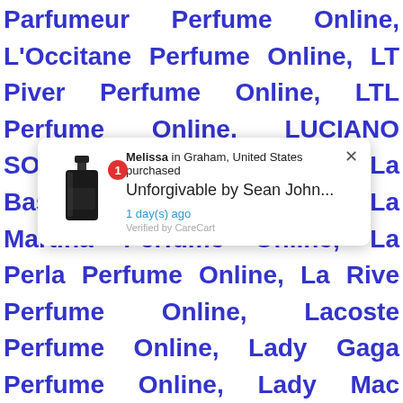Parfumeur Perfume Online, L'Occitane Perfume Online, LT Piver Perfume Online, LTL Perfume Online, LUCIANO SOPRANI Perfume Online, La Bastille Perfume Online, La Martina Perfume Online, La Perla Perfume Online, La Rive Perfume Online, Lacoste Perfume Online, Lady Gaga Perfume Online, Lady Mac Steed Perfume Online, Lalique Perfume Online, Lamis Perfume Online, Lancaster Perfume Online, Lancetti Perfume Online, Lancome Perfume Online, Lanvin Perfume Online, Lara Perfume Online, Larry Ashley Perfume Online, Laura Biagotti Perfume Online, Lauren Mazzone Perfume Online, Vanilla Perfume Online, La Labo Perfume Online,
[Figure (screenshot): Notification popup overlay showing a perfume bottle image, text 'Melissa in Graham, United States purchased Unforgivable by Sean John...' with '1 day(s) ago' and 'Verified by CareCart' label]